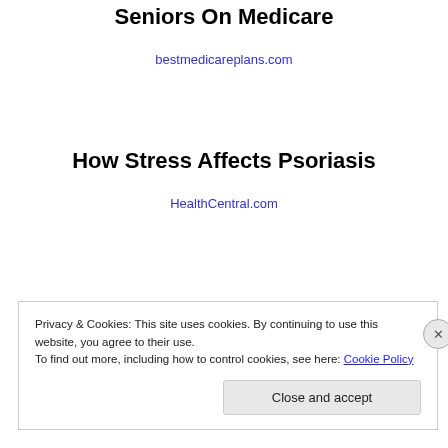Seniors On Medicare
bestmedicareplans.com
How Stress Affects Psoriasis
HealthCentral.com
Privacy & Cookies: This site uses cookies. By continuing to use this website, you agree to their use.
To find out more, including how to control cookies, see here: Cookie Policy
Close and accept